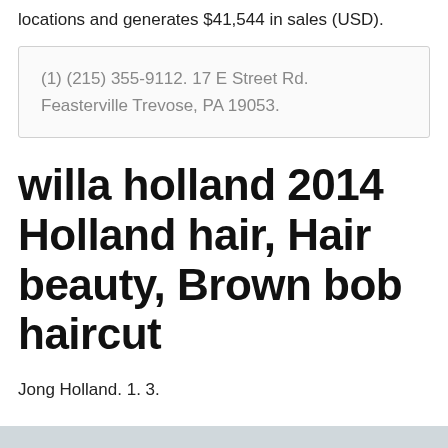locations and generates $41,544 in sales (USD).
(1) (215) 355-9112. 17 E Street Rd. Feasterville Trevose, PA 19053.
willa holland 2014 Holland hair, Hair beauty, Brown bob haircut
Jong Holland. 1. 3.